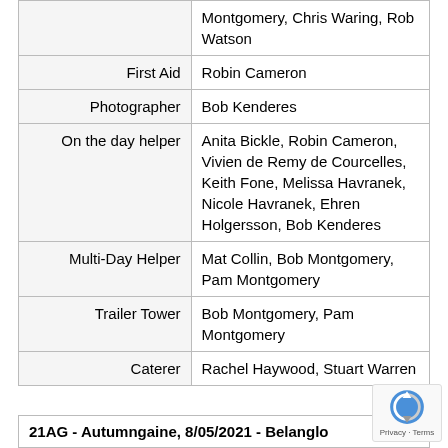| Role | People |
| --- | --- |
|  | Montgomery, Chris Waring, Rob Watson |
| First Aid | Robin Cameron |
| Photographer | Bob Kenderes |
| On the day helper | Anita Bickle, Robin Cameron, Vivien de Remy de Courcelles, Keith Fone, Melissa Havranek, Nicole Havranek, Ehren Holgersson, Bob Kenderes |
| Multi-Day Helper | Mat Collin, Bob Montgomery, Pam Montgomery |
| Trailer Tower | Bob Montgomery, Pam Montgomery |
| Caterer | Rachel Haywood, Stuart Warren |
21AG - Autumngaine, 8/05/2021 - Belanglo